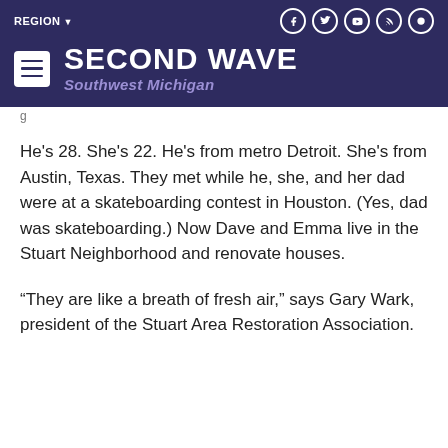SECOND WAVE Southwest Michigan
He's 28. She's 22. He's from metro Detroit. She's from Austin, Texas. They met while he, she, and her dad were at a skateboarding contest in Houston. (Yes, dad was skateboarding.) Now Dave and Emma live in the Stuart Neighborhood and renovate houses.
“They are like a breath of fresh air,” says Gary Wark, president of the Stuart Area Restoration Association.